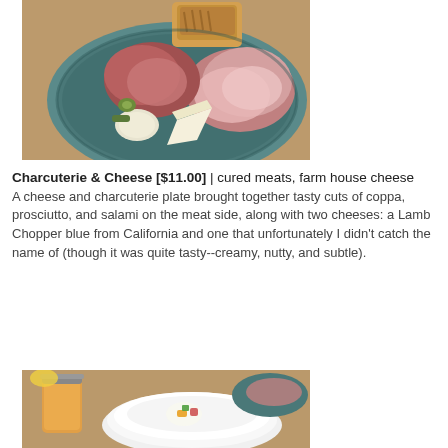[Figure (photo): A charcuterie and cheese plate on a blue-grey ceramic plate, with cured meats including prosciutto, olives, pickles, and chunks of cheese, with grilled bread in the background on a wooden surface.]
Charcuterie & Cheese [$11.00] | cured meats, farm house cheese
A cheese and charcuterie plate brought together tasty cuts of coppa, prosciutto, and salami on the meat side, along with two cheeses: a Lamb Chopper blue from California and one that unfortunately I didn't catch the name of (though it was quite tasty--creamy, nutty, and subtle).
[Figure (photo): A white bowl with colorful food garnish, alongside a glass jar with an orange/carrot colored drink, and a plate with charcuterie in the background on a wooden table.]